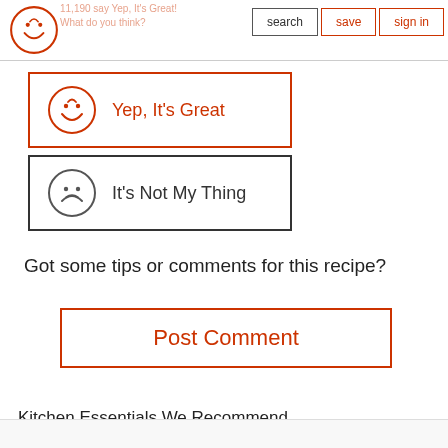search | save | sign in
Yep, It's Great
It's Not My Thing
Got some tips or comments for this recipe?
Post Comment
Kitchen Essentials We Recommend